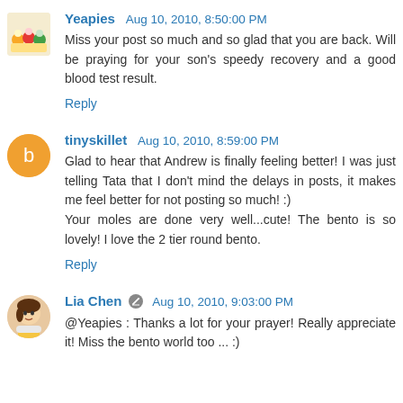Yeapies  Aug 10, 2010, 8:50:00 PM
Miss your post so much and so glad that you are back. Will be praying for your son's speedy recovery and a good blood test result.
Reply
tinyskillet  Aug 10, 2010, 8:59:00 PM
Glad to hear that Andrew is finally feeling better! I was just telling Tata that I don't mind the delays in posts, it makes me feel better for not posting so much! :)
Your moles are done very well...cute! The bento is so lovely! I love the 2 tier round bento.
Reply
Lia Chen  Aug 10, 2010, 9:03:00 PM
@Yeapies : Thanks a lot for your prayer! Really appreciate it! Miss the bento world too ... :)